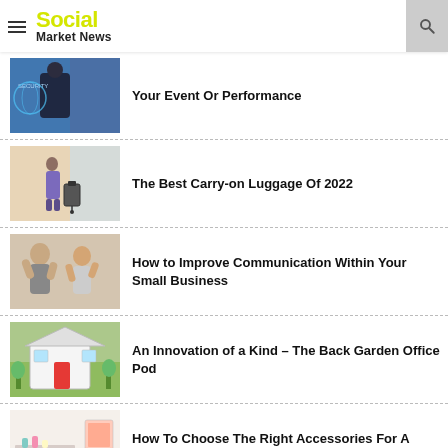Social Market News
Your Event Or Performance
The Best Carry-on Luggage Of 2022
How to Improve Communication Within Your Small Business
An Innovation of a Kind – The Back Garden Office Pod
How To Choose The Right Accessories For A Bathroom?